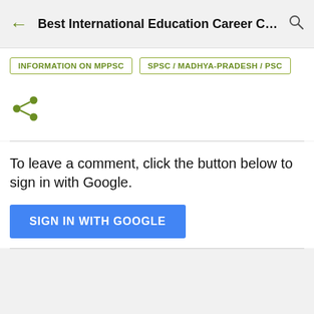Best International Education Career Couns...
INFORMATION ON MPPSC
SPSC / MADHYA-PRADESH / PSC
[Figure (illustration): Share icon (green nodes with connecting lines)]
To leave a comment, click the button below to sign in with Google.
SIGN IN WITH GOOGLE